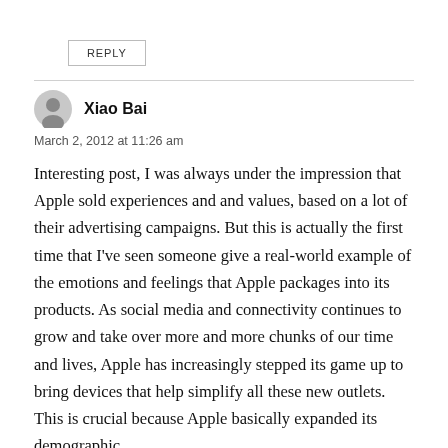REPLY
Xiao Bai
March 2, 2012 at 11:26 am
Interesting post, I was always under the impression that Apple sold experiences and and values, based on a lot of their advertising campaigns. But this is actually the first time that I've seen someone give a real-world example of the emotions and feelings that Apple packages into its products. As social media and connectivity continues to grow and take over more and more chunks of our time and lives, Apple has increasingly stepped its game up to bring devices that help simplify all these new outlets. This is crucial because Apple basically expanded its demographic